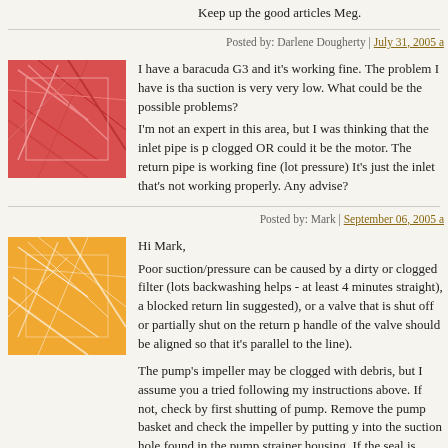Keep up the good articles Meg.
Posted by: Darlene Dougherty | July 31, 2005 a
[Figure (illustration): Red abstract geometric avatar icon]
I have a baracuda G3 and it's working fine. The problem I have is that the suction is very very low. What could be the possible problems? I'm not an expert in this area, but I was thinking that the inlet pipe is p clogged OR could it be the motor. The return pipe is working fine (lot pressure) It's just the inlet that's not working properly. Any advise?
Posted by: Mark | September 06, 2005 a
[Figure (illustration): Orange abstract geometric avatar icon]
Hi Mark,
Poor suction/pressure can be caused by a dirty or clogged filter (lots backwashing helps - at least 4 minutes straight), a blocked return lin suggested), or a valve that is shut off or partially shut on the return p handle of the valve should be aligned so that it's parallel to the line).
The pump's impeller may be clogged with debris, but I assume you a tried following my instructions above. If not, check by first shutting of pump. Remove the pump basket and check the impeller by putting y into the suction hole found in the pump strainer housing. If the seal is replace it. For seal change instructions, refer to your Owner's Manua